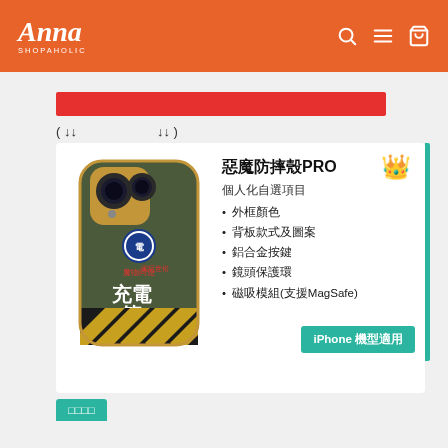Anna Shopaholic
[Figure (screenshot): Red horizontal bar (product listing banner/filter area)]
( ↓↓   ↓↓ )
[Figure (photo): Dark olive green iPhone case with CasinoRider charging box design, featuring Chinese characters 充電箱 and warning stripe pattern at the bottom with gold camera ring]
惡魔防摔殼PRO
個人化自選項目
外框顏色
背板款式及圖案
鋁合金按鍵
鏡頭保護環
磁吸模組(支援MagSafe)
iPhone 機型適用
□□□□